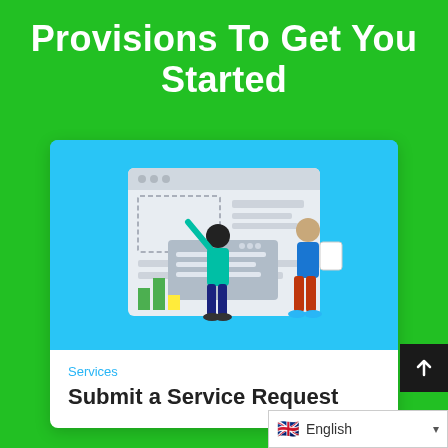Provisions To Get You Started
[Figure (illustration): Illustration of two people interacting with a large web UI/dashboard screen. One person (woman in teal) is pointing at the screen; the other (man in blue shirt and orange pants) is walking toward it carrying a document. The screen shows a browser window with UI elements and a bar chart.]
Services
Submit a Service Request